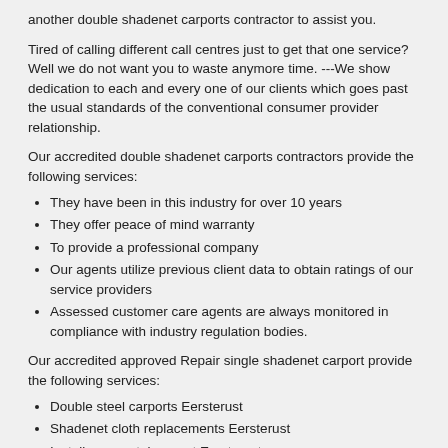another double shadenet carports contractor to assist you.
Tired of calling different call centres just to get that one service? Well we do not want you to waste anymore time. ---We show dedication to each and every one of our clients which goes past the usual standards of the conventional consumer provider relationship.
Our accredited double shadenet carports contractors provide the following services:
They have been in this industry for over 10 years
They offer peace of mind warranty
To provide a professional company
Our agents utilize previous client data to obtain ratings of our service providers
Assessed customer care agents are always monitored in compliance with industry regulation bodies.
Our accredited approved Repair single shadenet carport provide the following services:
Double steel carports Eersterust
Shadenet cloth replacements Eersterust
Install new metal carport Eersterust
New shadenet carports Eersterust
Carport installations Eersterust
Repair single shadenet carport Eersterust
Carport repairs Eersterust